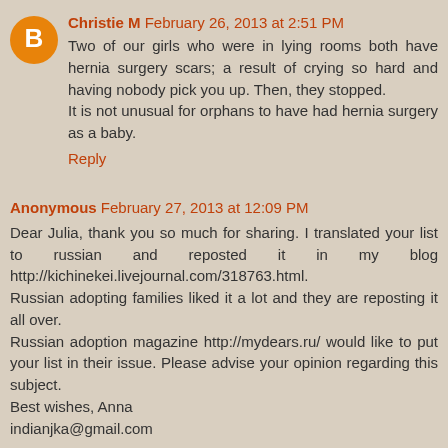Christie M  February 26, 2013 at 2:51 PM
Two of our girls who were in lying rooms both have hernia surgery scars; a result of crying so hard and having nobody pick you up. Then, they stopped.
It is not unusual for orphans to have had hernia surgery as a baby.
Reply
Anonymous  February 27, 2013 at 12:09 PM
Dear Julia, thank you so much for sharing. I translated your list to russian and reposted it in my blog http://kichinekei.livejournal.com/318763.html.
Russian adopting families liked it a lot and they are reposting it all over.
Russian adoption magazine http://mydears.ru/ would like to put your list in their issue. Please advise your opinion regarding this subject.
Best wishes, Anna
indianJka@gmail.com
Reply